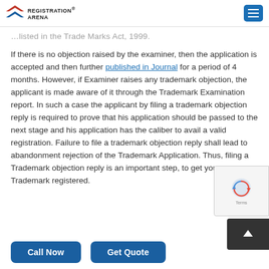Registration Arena
…listed in the Trade Marks Act, 1999.
If there is no objection raised by the examiner, then the application is accepted and then further published in Journal for a period of 4 months. However, if Examiner raises any trademark objection, the applicant is made aware of it through the Trademark Examination report. In such a case the applicant by filing a trademark objection reply is required to prove that his application should be passed to the next stage and his application has the caliber to avail a valid registration. Failure to file a trademark objection reply shall lead to abandonment rejection of the Trademark Application. Thus, filing a Trademark objection reply is an important step, to get your Trademark registered.
Call Now
Get Quote